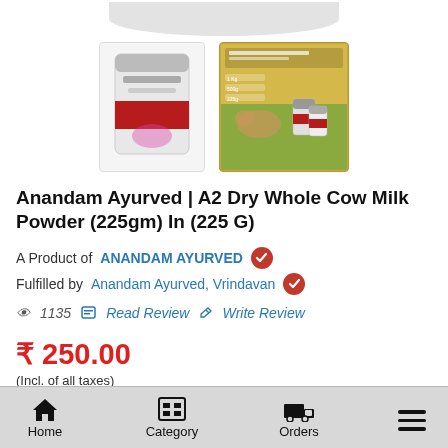[Figure (photo): Partial arc/curve at the top of the page suggesting a product image cropped from above]
[Figure (photo): Two product thumbnail images: left shows Anandam Ayurved milk powder bag (white/red), right shows a promotional banner with multiple product sizes and a cow]
Anandam Ayurved | A2 Dry Whole Cow Milk Powder (225gm) In (225 G)
A Product of ANANDAM AYURVED (verified)
Fulfilled by Anandam Ayurved, Vrindavan (verified)
1135  Read Review  Write Review
₹ 250.00
(Incl. of all taxes)
Home  Category  Orders